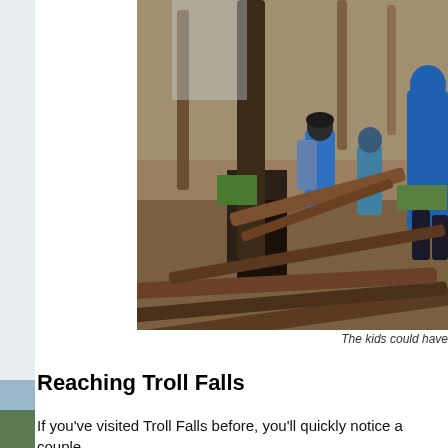[Figure (photo): Children hiking through a forest trail with fallen logs crossing a small creek. Two kids in blue jackets with backpacks are navigating over logs in a wooded autumn scene with fallen leaves and tall trees.]
The kids could have
Reaching Troll Falls
If you've visited Troll Falls before, you'll quickly notice a couple